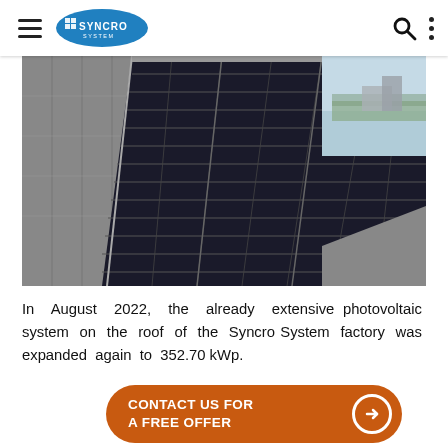Syncro System — navigation header with hamburger menu, logo, search icon, and options menu
[Figure (photo): Aerial view of solar photovoltaic panels installed on the roof of the Syncro System factory building, with surrounding rooftop and sky visible in the background.]
In August 2022, the already extensive photovoltaic system on the roof of the Syncro System factory was expanded again to 352.70 kWp.
CONTACT US FOR A FREE OFFER